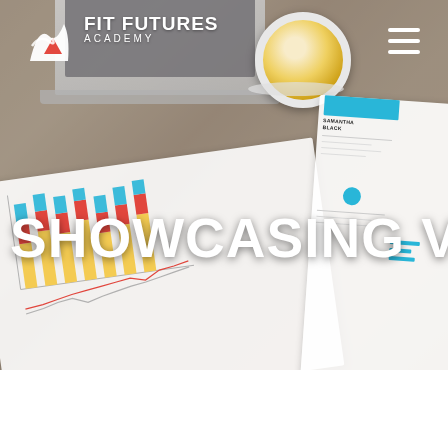[Figure (photo): Hero banner image showing a wooden desk with a laptop, a cup of coffee, printed bar charts and line charts on paper, and a resume/CV document. Overlaid with the Fit Futures Academy logo (top left), a hamburger menu icon (top right), and large white text reading SHOWCASING VALUE in the center.]
SHOWCASING VALUE